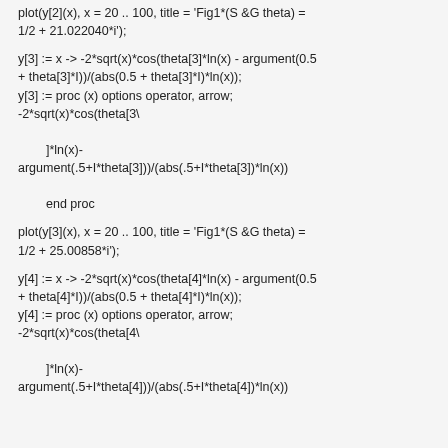plot(y[2](x), x = 20 .. 100, title = 'Fig1*(S &G theta) = 1/2 + 21.022040*i');
y[3] := x -> -2*sqrt(x)*cos(theta[3]*ln(x) - argument(0.5 + theta[3]*I))/(abs(0.5 + theta[3]*I)*ln(x));
y[3] := proc (x) options operator, arrow;
-2*sqrt(x)*cos(theta[3\

    ]*ln(x)-
argument(.5+I*theta[3]))/(abs(.5+I*theta[3])*ln(x))

    end proc
plot(y[3](x), x = 20 .. 100, title = 'Fig1*(S &G theta) = 1/2 + 25.00858*i');
y[4] := x -> -2*sqrt(x)*cos(theta[4]*ln(x) - argument(0.5 + theta[4]*I))/(abs(0.5 + theta[4]*I)*ln(x));
y[4] := proc (x) options operator, arrow;
-2*sqrt(x)*cos(theta[4\

    ]*ln(x)-
argument(.5+I*theta[4]))/(abs(.5+I*theta[4])*ln(x))